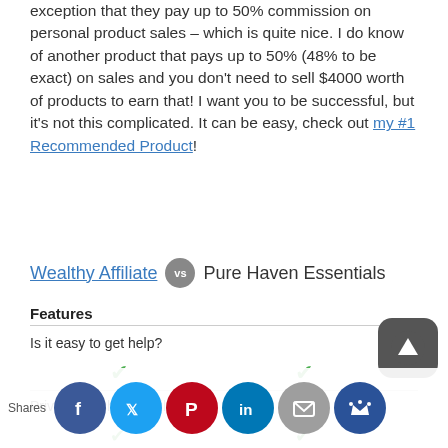exception that they pay up to 50% commission on personal product sales – which is quite nice. I do know of another product that pays up to 50% (48% to be exact) on sales and you don't need to sell $4000 worth of products to earn that! I want you to be successful, but it's not this complicated. It can be easy, check out my #1 Recommended Product!
Wealthy Affiliate vs Pure Haven Essentials
Features
Is it easy to get help?
Private coaching available?